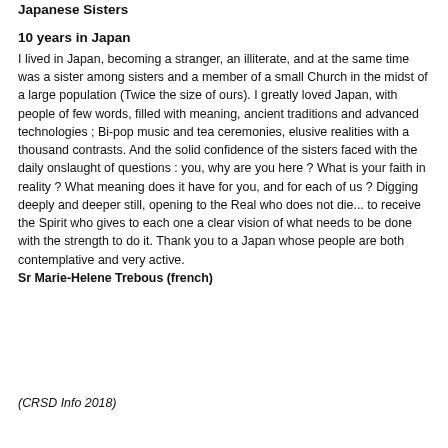Japanese Sisters
10 years in Japan
I lived in Japan, becoming a stranger, an illiterate, and at the same time was a sister among sisters and a member of a small Church in the midst of a large population (Twice the size of ours). I greatly loved Japan, with people of few words, filled with meaning, ancient traditions and advanced technologies ; Bi-pop music and tea ceremonies, elusive realities with a thousand contrasts. And the solid confidence of the sisters faced with the daily onslaught of questions : you, why are you here ? What is your faith in reality ? What meaning does it have for you, and for each of us ? Digging deeply and deeper still, opening to the Real who does not die... to receive the Spirit who gives to each one a clear vision of what needs to be done with the strength to do it. Thank you to a Japan whose people are both contemplative and very active.
Sr Marie-Helene Trebous (french)
(CRSD Info 2018)